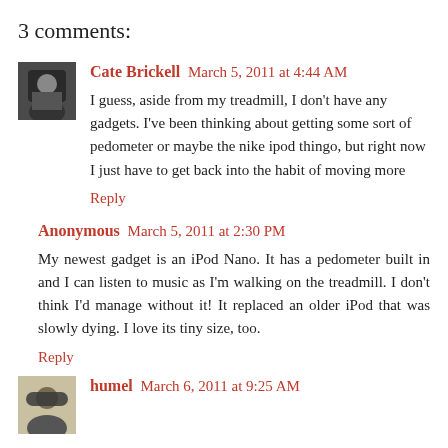3 comments:
Cate Brickell March 5, 2011 at 4:44 AM
I guess, aside from my treadmill, I don't have any gadgets. I've been thinking about getting some sort of pedometer or maybe the nike ipod thingo, but right now I just have to get back into the habit of moving more
Reply
Anonymous March 5, 2011 at 2:30 PM
My newest gadget is an iPod Nano. It has a pedometer built in and I can listen to music as I'm walking on the treadmill. I don't think I'd manage without it! It replaced an older iPod that was slowly dying. I love its tiny size, too.
Reply
humel March 6, 2011 at 9:25 AM